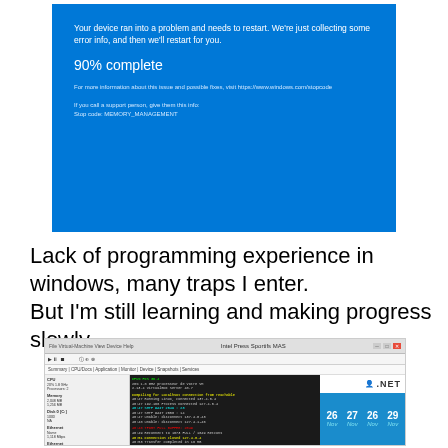[Figure (screenshot): Windows 10 Blue Screen of Death (BSOD) showing MEMORY_MANAGEMENT stop code at 90% complete]
Lack of programming experience in windows, many traps I enter.
But I'm still learning and making progress slowly.
[Figure (screenshot): Windows application screenshot showing a network monitoring tool with terminal output, a .NET logo, and a weather widget showing Nov 26-29 with snow icons]